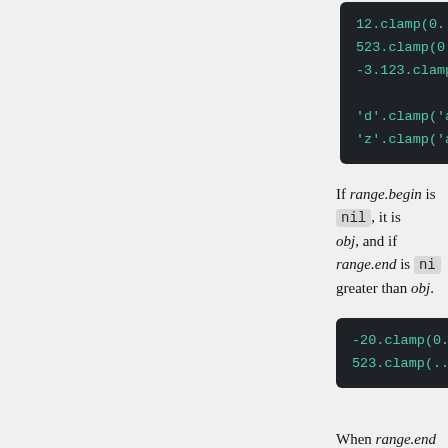[Figure (screenshot): Dark code block showing: 12.clamp(0..100), 523.clamp(0..100), -3.123.clamp(0..100), 'd'.clamp('a'..'f'), 'z'.clamp('a'..'f') in teal monospace font on dark background]
If range.begin is nil, it is treated as being smaller than obj, and if range.end is nil, it is treated as being greater than obj.
[Figure (screenshot): Dark code block showing: -20.clamp(0..), 523.clamp(..100) in teal monospace font on dark background]
When range.end is excluded, an exception is raised.
[Figure (screenshot): Dark code block showing: 100.clamp(0...100) in teal monospace font on dark background]